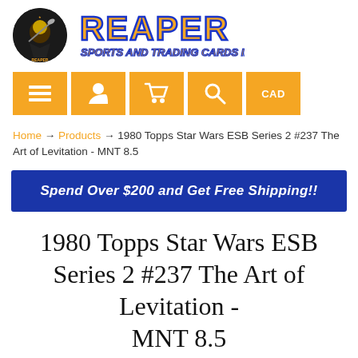[Figure (logo): Reaper Sports and Trading Cards Inc. logo with grim reaper illustration in circular badge and stylized orange/blue brand name text]
[Figure (infographic): Orange navigation buttons: hamburger menu, user icon, shopping cart, search/magnifier, and CAD currency label]
Home → Products → 1980 Topps Star Wars ESB Series 2 #237 The Art of Levitation - MNT 8.5
Spend Over $200 and Get Free Shipping!!
1980 Topps Star Wars ESB Series 2 #237 The Art of Levitation - MNT 8.5